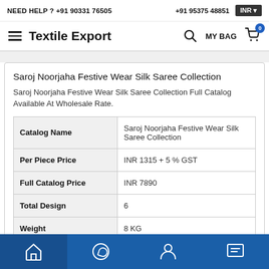NEED HELP ? +91 90331 76505   +91 95375 48851   INR
Textile Export   MY BAG 0
Saroj Noorjaha Festive Wear Silk Saree Collection
Saroj Noorjaha Festive Wear Silk Saree Collection Full Catalog Available At Wholesale Rate.
| Catalog Name | Saroj Noorjaha Festive Wear Silk Saree Collection |
| --- | --- |
| Per Piece Price | INR 1315 + 5 % GST |
| Full Catalog Price | INR 7890 |
| Total Design | 6 |
| Weight | 8 KG |